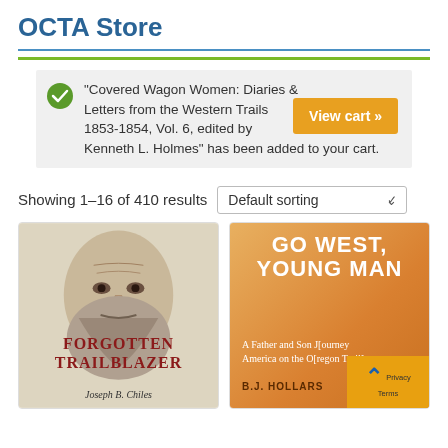OCTA Store
“Covered Wagon Women: Diaries & Letters from the Western Trails 1853-1854, Vol. 6, edited by Kenneth L. Holmes” has been added to your cart.
Showing 1–16 of 410 results
[Figure (screenshot): Default sorting dropdown selector]
[Figure (photo): Book cover: Forgotten Trailblazer by Joseph B. Chiles, showing an illustrated portrait of an old bearded man]
[Figure (photo): Book cover: Go West, Young Man by B.J. Hollars, with orange gradient background. Subtitle: A Father and Son [Journey across] America on the O[regon Trail]]